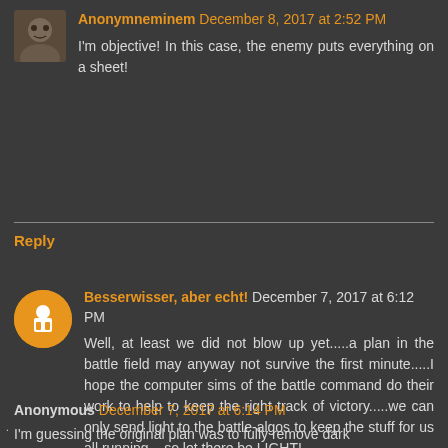Anonymneminem December 8, 2017 at 2:52 PM
I'm objective! In this case, the enemy puts everything on a sheet!
Reply
Besserwisser, aber echt! December 7, 2017 at 6:12 PM
Well, at least we did not blow up yet.....a plan in the battle field may anyway not survive the first minute.....I hope the computer sims of the battle command do their work to help to keep the right track of victory.....we can only send light to the battle-algos to keep the stuff for us all running....so let there be LIGHT!
Reply
Anonymous December 7, 2017 at 6:14 PM
I'm guessing the original plan was to fully remove dark